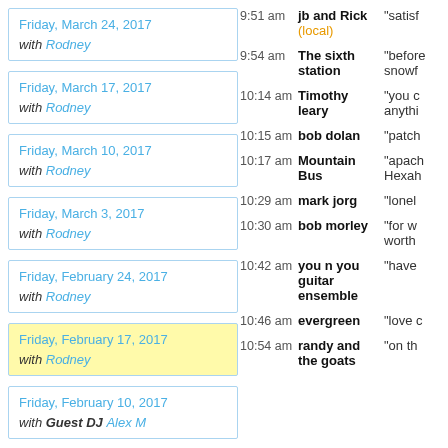Friday, March 24, 2017
with Rodney
Friday, March 17, 2017
with Rodney
Friday, March 10, 2017
with Rodney
Friday, March 3, 2017
with Rodney
Friday, February 24, 2017
with Rodney
Friday, February 17, 2017
with Rodney
Friday, February 10, 2017
with Guest DJ Alex M
Friday, February 3, 2017
| Time | Artist | Song |
| --- | --- | --- |
| 9:51 am | jb and Rick (local) | “satisf… |
| 9:54 am | The sixth station | “before snowf… |
| 10:14 am | Timothy leary | “you c… anythi… |
| 10:15 am | bob dolan | “patch… |
| 10:17 am | Mountain Bus | “apach… Hexah… |
| 10:29 am | mark jorg | “lonel… |
| 10:30 am | bob morley | “for w… worth… |
| 10:42 am | you n you guitar ensemble | “have … |
| 10:46 am | evergreen | “love c… |
| 10:54 am | randy and the goats | “on th… |